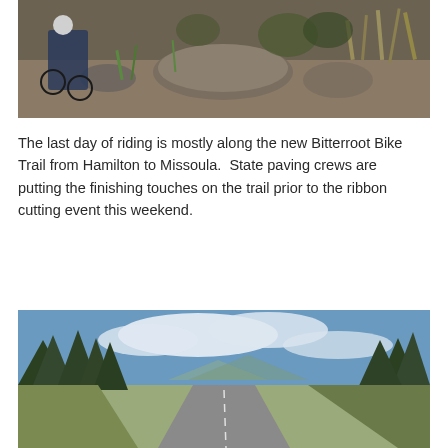[Figure (photo): Mountain biker riding on a rocky trail surrounded by boulders, dry grass, and shrubs in a mountainous landscape.]
The last day of riding is mostly along the new Bitterroot Bike Trail from Hamilton to Missoula.  State paving crews are putting the finishing touches on the trail prior to the ribbon cutting event this weekend.
[Figure (photo): A road winding through a valley flanked by pine-covered hillsides under a partly cloudy blue sky, with mountains visible in the distance.]